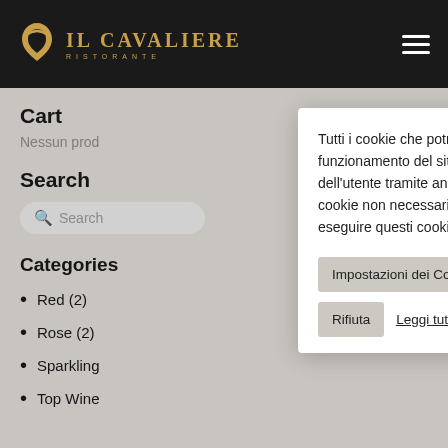[Figure (logo): Il Cavaliere Ristorante logo with horseshoe icon and gold text on dark header]
Cart
Nessun prod…
Search
Categories
Red (2)
Rose (2)
Sparkling…
Top Wine…
Tutti i cookie che potrebbero non essere particolarmente necessari per il funzionamento del sito Web sono stati utilizzati per raccogliere i dati personali dell'utente tramite analisi, pubblicità, altri contenuti incorporati sono definiti come cookie non necessari. È obbligatorio ottenere il consenso dell'utente prima di eseguire questi cookie sul tuo sito web.
Impostazioni dei Cookie
Accetta
Rifiuta
Leggi tutto